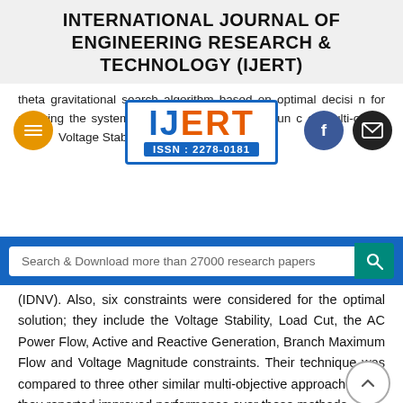INTERNATIONAL JOURNAL OF ENGINEERING RESEARCH & TECHNOLOGY (IJERT)
[Figure (logo): IJERT logo with ISSN: 2278-0181, orange hamburger menu icon, Facebook icon, and email icon overlaid on partially visible body text about gravitational search algorithm]
Search & Download more than 27000 research papers
(IDNV). Also, six constraints were considered for the optimal solution; they include the Voltage Stability, Load Cut, the AC Power Flow, Active and Reactive Generation, Branch Maximum Flow and Voltage Magnitude constraints. Their technique was compared to three other similar multi-objective approaches and they reported improved performance over these methods